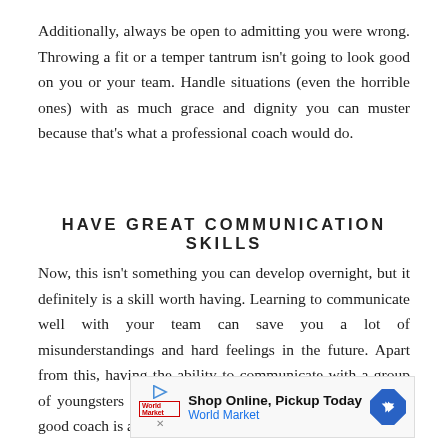Additionally, always be open to admitting you were wrong. Throwing a fit or a temper tantrum isn't going to look good on you or your team. Handle situations (even the horrible ones) with as much grace and dignity you can muster because that's what a professional coach would do.
HAVE GREAT COMMUNICATION SKILLS
Now, this isn't something you can develop overnight, but it definitely is a skill worth having. Learning to communicate well with your team can save you a lot of misunderstandings and hard feelings in the future. Apart from this, having the ability to communicate with a group of youngsters in a way they'd understand is what being a good coach is all about.
[Figure (other): Advertisement banner: Shop Online, Pickup Today - World Market, with play button icon, World Market logo, and a blue diamond-shaped arrow icon]